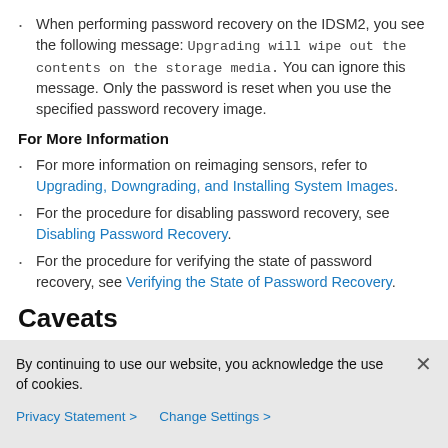When performing password recovery on the IDSM2, you see the following message: Upgrading will wipe out the contents on the storage media. You can ignore this message. Only the password is reset when you use the specified password recovery image.
For More Information
For more information on reimaging sensors, refer to Upgrading, Downgrading, and Installing System Images.
For the procedure for disabling password recovery, see Disabling Password Recovery.
For the procedure for verifying the state of password recovery, see Verifying the State of Password Recovery.
Caveats
This section describes the Bug Toolkit, lists the resolved and known caveats, and contains the following topics:
By continuing to use our website, you acknowledge the use of cookies.
Privacy Statement > Change Settings >